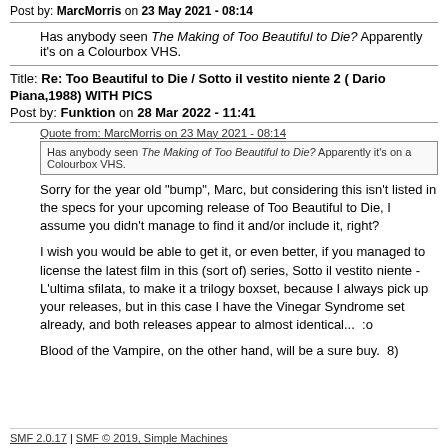Post by: MarcMorris on 23 May 2021 - 08:14
Has anybody seen The Making of Too Beautiful to Die? Apparently it's on a Colourbox VHS.
Title: Re: Too Beautiful to Die / Sotto il vestito niente 2 ( Dario Piana,1988) WITH PICS
Post by: Funktion on 28 Mar 2022 - 11:41
Quote from: MarcMorris on 23 May 2021 - 08:14
Has anybody seen The Making of Too Beautiful to Die? Apparently it's on a Colourbox VHS.
Sorry for the year old "bump", Marc, but considering this isn't listed in the specs for your upcoming release of Too Beautiful to Die, I assume you didn't manage to find it and/or include it, right?
I wish you would be able to get it, or even better, if you managed to license the latest film in this (sort of) series, Sotto il vestito niente - L'ultima sfilata, to make it a trilogy boxset, because I always pick up your releases, but in this case I have the Vinegar Syndrome set already, and both releases appear to almost identical...  :o
Blood of the Vampire, on the other hand, will be a sure buy.  8)
SMF 2.0.17 | SMF © 2019, Simple Machines